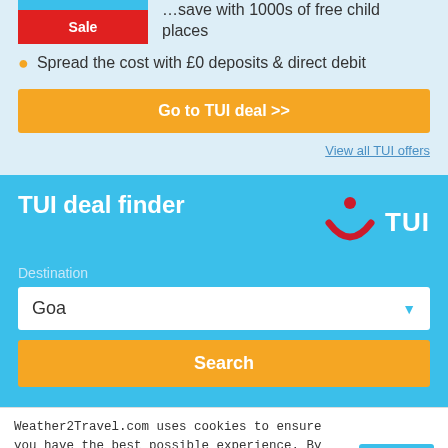[Figure (screenshot): TUI Sale badge (red rectangle with white 'Sale' text)]
Spread the cost with £0 deposits & direct debit
Go to TUI deal >>
View all TUI offers
TUI deal finder
[Figure (logo): TUI logo — red smiley arc with dot and TUI text in white]
Destination
Goa
Search
Weather2Travel.com uses cookies to ensure you have the best possible experience. By continuing to use this website, you agree to the use of cookies. Read our Privacy & Cookies Policy for more info.
Accept